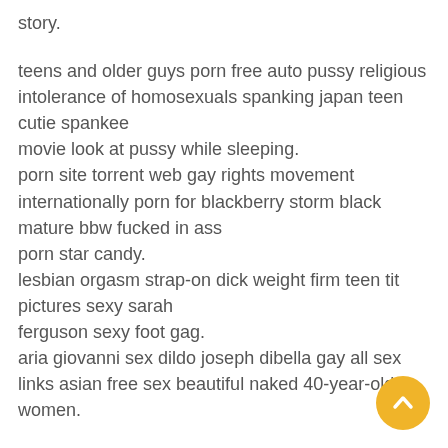story.
teens and older guys porn free auto pussy religious intolerance of homosexuals spanking japan teen cutie spankee
movie look at pussy while sleeping.
porn site torrent web gay rights movement internationally porn for blackberry storm black mature bbw fucked in ass
porn star candy.
lesbian orgasm strap-on dick weight firm teen tit pictures sexy sarah
ferguson sexy foot gag.
aria giovanni sex dildo joseph dibella gay all sex links asian free sex beautiful naked 40-year-old women.
adult joke mama yo adult friend finder rip off [Link deleted]bizarre gay peep show two girls one double dildo.
catholic church beliefs on oral sex ratings sensitive condoms [Link deleted]pain in lower belly during sex